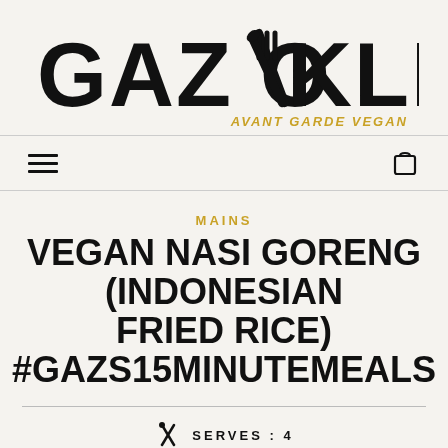[Figure (logo): Gaz Oakley Avant Garde Vegan logo — large bold black stencil text 'GAZ OAKLEY' with crossed fork-and-knife icon replacing the 'A' in OAKLEY, and italic gold tagline 'AVANT GARDE VEGAN' below right]
[Figure (infographic): Navigation bar with hamburger menu icon on left and shopping bag icon on right]
MAINS
VEGAN NASI GORENG (INDONESIAN FRIED RICE) #GAZS15MINUTEMEALS
SERVES: 4